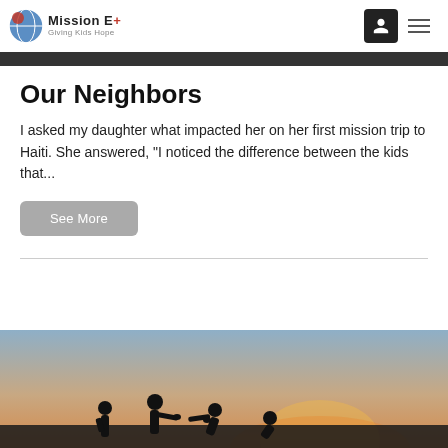Mission E+ Giving Kids Hope — navigation header
Our Neighbors
I asked my daughter what impacted her on her first mission trip to Haiti. She answered, "I noticed the difference between the kids that...
See More
[Figure (photo): Silhouette of people helping each other at sunset, reaching out hands, against a warm orange and blue sky background]